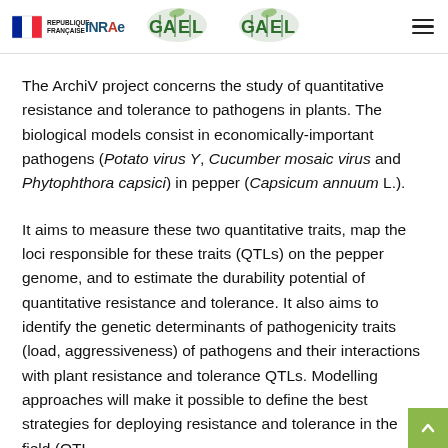République Française | INRAE | GAEL logos
The ArchiV project concerns the study of quantitative resistance and tolerance to pathogens in plants. The biological models consist in economically-important pathogens (Potato virus Y, Cucumber mosaic virus and Phytophthora capsici) in pepper (Capsicum annuum L.).
It aims to measure these two quantitative traits, map the loci responsible for these traits (QTLs) on the pepper genome, and to estimate the durability potential of quantitative resistance and tolerance. It also aims to identify the genetic determinants of pathogenicity traits (load, aggressiveness) of pathogens and their interactions with plant resistance and tolerance QTLs. Modelling approaches will make it possible to define the best strategies for deploying resistance and tolerance in the field (QTL